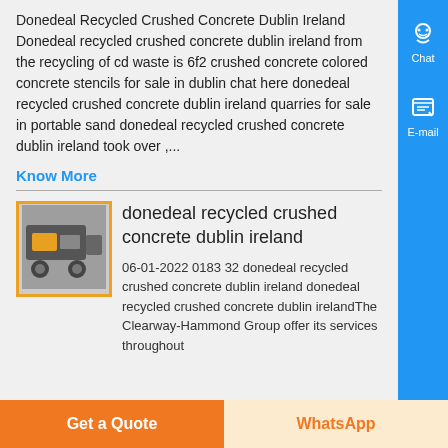Donedeal Recycled Crushed Concrete Dublin Ireland Donedeal recycled crushed concrete dublin ireland from the recycling of cd waste is 6f2 crushed concrete colored concrete stencils for sale in dublin chat here donedeal recycled crushed concrete dublin ireland quarries for sale in portable sand donedeal recycled crushed concrete dublin ireland took over ,...
Know More
[Figure (photo): Thumbnail photo of a concrete recycling machine or facility]
donedeal recycled crushed concrete dublin ireland
06-01-2022 0183 32 donedeal recycled crushed concrete dublin ireland donedeal recycled crushed concrete dublin irelandThe Clearway-Hammond Group offer its services throughout
Get a Quote | WhatsApp